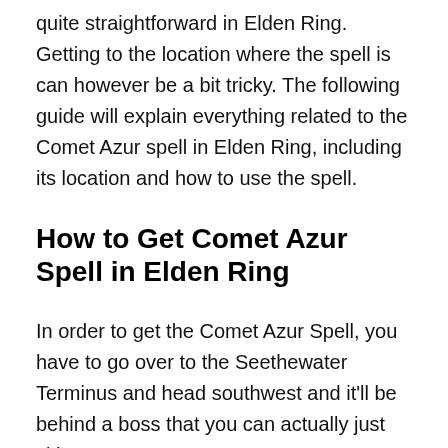quite straightforward in Elden Ring. Getting to the location where the spell is can however be a bit tricky. The following guide will explain everything related to the Comet Azur spell in Elden Ring, including its location and how to use the spell.
How to Get Comet Azur Spell in Elden Ring
In order to get the Comet Azur Spell, you have to go over to the Seethewater Terminus and head southwest and it'll be behind a boss that you can actually just skip.
From the Erdtree Grazing Hill, head north along